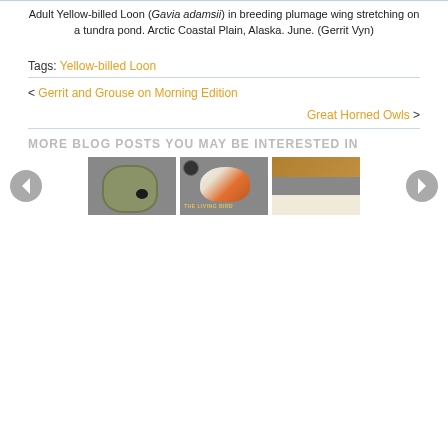Adult Yellow-billed Loon (Gavia adamsii) in breeding plumage wing stretching on a tundra pond. Arctic Coastal Plain, Alaska. June. (Gerrit Vyn)
Tags: Yellow-billed Loon
< Gerrit and Grouse on Morning Edition
Great Horned Owls >
MORE BLOG POSTS YOU MAY BE INTERESTED IN
[Figure (photo): Carousel with three thumbnail images: a camouflaged bird hide in a field, a book cover 'The Living Bird' with a puffin, and an indoor event/banquet hall with blue decorations.]